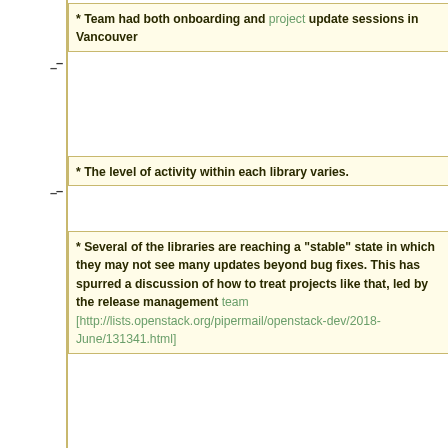* Team had both onboarding and project update sessions in Vancouver
* The level of activity within each library varies.
* Several of the libraries are reaching a "stable" state in which they may not see many updates beyond bug fixes. This has spurred a discussion of how to treat projects like that, led by the release management team [http://lists.openstack.org/pipermail/openstack-dev/2018-June/131341.html]
=== Requirements Management ===